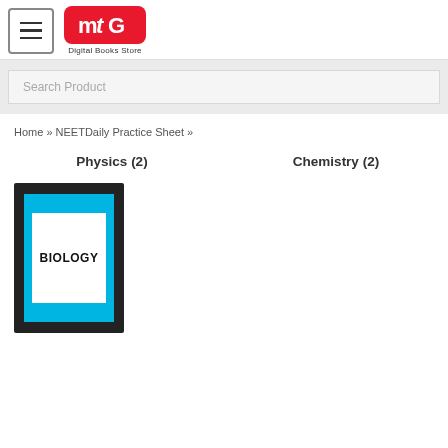MTG Digital Books Store
Search Product
Home » NEETDaily Practice Sheet »
Physics (2)
Chemistry (2)
[Figure (illustration): Book cover with dark background, cyan/blue panel, white inner box with bold text BIOLOGY]